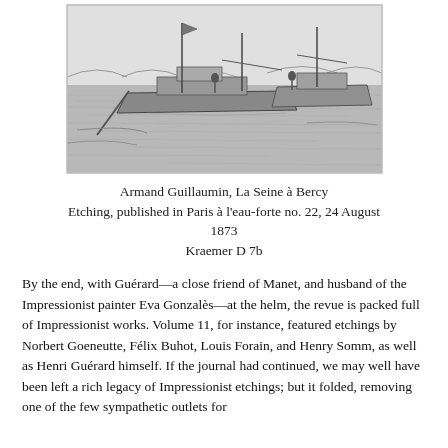[Figure (illustration): Black and white etching of boats on a river (La Seine à Bercy), showing several vessels with masts and figures, with a bridge visible in the background. Sketch-like line art style.]
Armand Guillaumin, La Seine à Bercy
Etching, published in Paris à l'eau-forte no. 22,  24 August 1873
Kraemer D 7b
By the end, with Guérard—a close friend of Manet, and husband of the Impressionist painter Eva Gonzalès—at the helm, the revue is packed full of Impressionist works. Volume 11, for instance, featured etchings by Norbert Goeneutte, Félix Buhot, Louis Forain, and Henry Somm, as well as Henri Guérard himself. If the journal had continued, we may well have been left a rich legacy of Impressionist etchings; but it folded, removing one of the few sympathetic outlets for